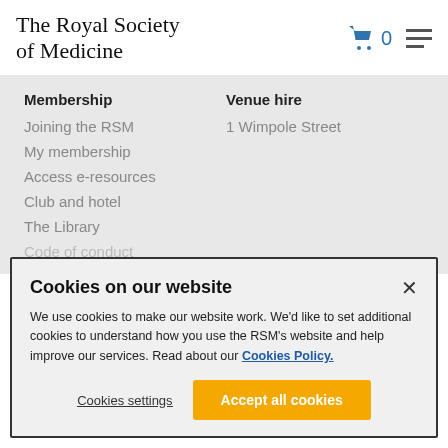The Royal Society of Medicine
Membership
Joining the RSM
My membership
Access e-resources
Club and hotel
The Library
Code of conduct
Venue hire
1 Wimpole Street
Cookies on our website
We use cookies to make our website work. We'd like to set additional cookies to understand how you use the RSM's website and help improve our services. Read about our Cookies Policy.
Cookies settings
Accept all cookies